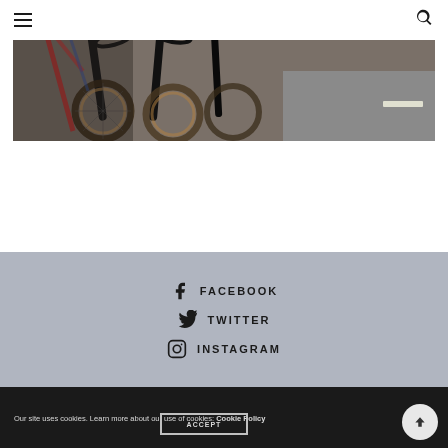Navigation menu and search
[Figure (photo): Close-up of multiple bicycles parked on a road, showing frames, wheels with tan/brown tires, and asphalt pavement]
FACEBOOK
TWITTER
INSTAGRAM
Our site uses cookies. Learn more about our use of cookies: Cookie Policy
ACCEPT